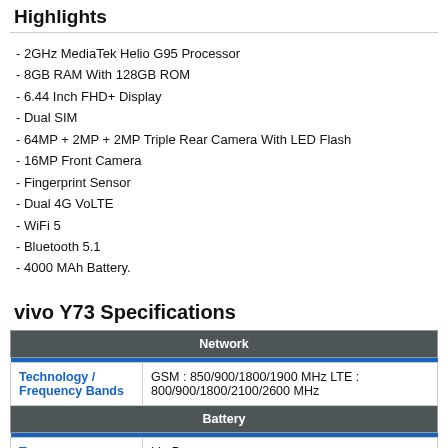Highlights
- 2GHz MediaTek Helio G95 Processor
- 8GB RAM With 128GB ROM
- 6.44 Inch FHD+ Display
- Dual SIM
- 64MP + 2MP + 2MP Triple Rear Camera With LED Flash
- 16MP Front Camera
- Fingerprint Sensor
- Dual 4G VoLTE
- WiFi 5
- Bluetooth 5.1
- 4000 MAh Battery.
vivo Y73 Specifications
|  | Network |
| --- | --- |
| Technology / Frequency Bands | GSM : 850/900/1800/1900 MHz LTE : 800/900/1800/2100/2600 MHz |
|  | Battery |
| Type | Li - Po |
| Capacity | 4000 mAh |
| Standby | - |